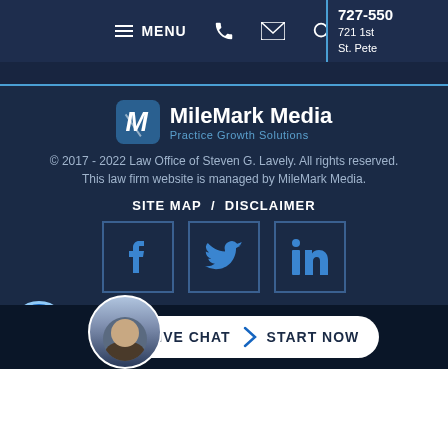MENU | phone icon | email icon | search icon | 727-55... | 721 1st St. Pete
[Figure (logo): MileMark Media - Practice Growth Solutions logo with teal M icon]
© 2017 - 2022 Law Office of Steven G. Lavely. All rights reserved. This law firm website is managed by MileMark Media.
SITE MAP / DISCLAIMER
[Figure (infographic): Social media icons: Facebook, Twitter, LinkedIn in bordered boxes]
[Figure (infographic): Accessibility wheelchair icon button]
[Figure (infographic): Live Chat - Start Now button bar with attorney avatar photo]